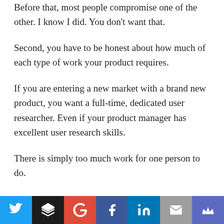Before that, most people compromise one of the other. I know I did. You don't want that.
Second, you have to be honest about how much of each type of work your product requires.
If you are entering a new market with a brand new product, you want a full-time, dedicated user researcher. Even if your product manager has excellent user research skills.
There is simply too much work for one person to do.
[Figure (infographic): Social sharing toolbar with icons for Twitter, Buffer, Google+, Facebook, LinkedIn, Email, and a crown/bookmark icon]